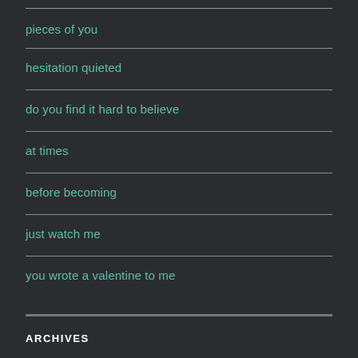pieces of you
hesitation quieted
do you find it hard to believe
at times
before becoming
just watch me
you wrote a valentine to me
ARCHIVES